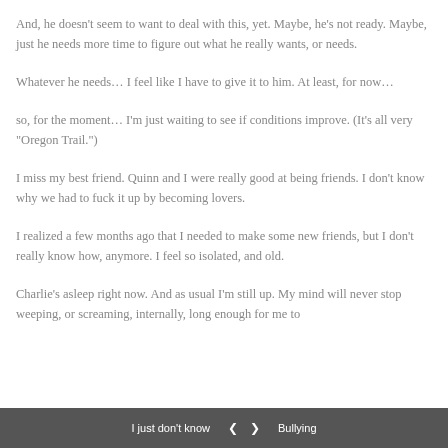And, he doesn't seem to want to deal with this, yet.  Maybe, he's not ready.  Maybe, just he needs more time to figure out what he really wants, or needs.
Whatever he needs…  I feel like I have to give it to him.  At least, for now…
so, for the moment…  I'm just waiting to see if conditions improve.  (It's all very "Oregon Trail.")
I miss my best friend.  Quinn and I were really good at being friends.  I don't know why we had to fuck it up by becoming lovers.
I realized a few months ago that I needed to make some new friends, but I don't really know how, anymore.  I feel so isolated, and old.
Charlie's asleep right now.  And as usual I'm still up.  My mind will never stop weeping, or screaming, internally, long enough for me to
I just don't know  <  >  Bullying